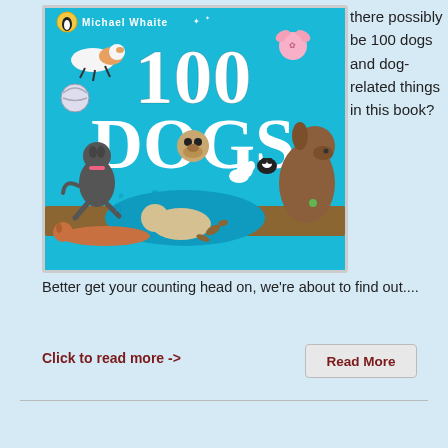[Figure (illustration): Book cover of '100 Dogs' by Michael Whaite, featuring colorful cartoon dogs on a bright blue background with large white text '100 DOGS']
there possibly be 100 dogs and dog-related things in this book?
Better get your counting head on, we're about to find out....
Click to read more ->
Read More